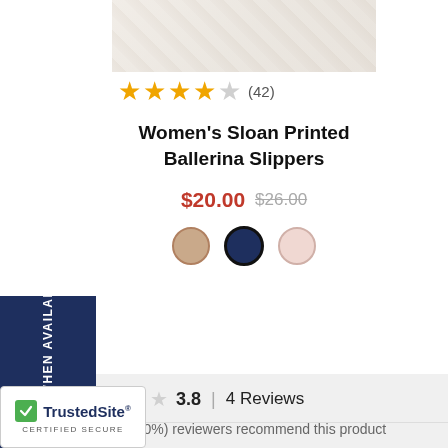[Figure (photo): Product photo of Women's Sloan Printed Ballerina Slippers, partially cropped at top]
★★★★☆ (42)
Women's Sloan Printed Ballerina Slippers
$20.00 $26.00
[Figure (other): Color swatches: tan/nude, navy, blush pink]
NOTIFY ME WHEN AVAILABLE
3.8  |  4 Reviews
of 2 (100%) reviewers recommend this product
Search topics and reviews
iews
Write a Review
[Figure (logo): TrustedSite Certified Secure badge]